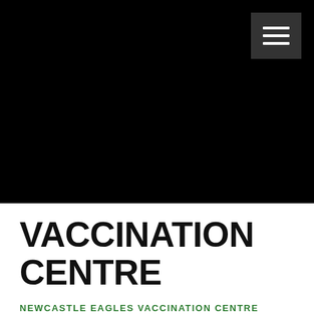[Figure (photo): Black hero image area, likely a photograph of a vaccination centre, appearing completely dark/black in this view. A hamburger menu button (three white horizontal lines) is visible in the top-right corner on a dark grey background.]
VACCINATION CENTRE
NEWCASTLE EAGLES VACCINATION CENTRE